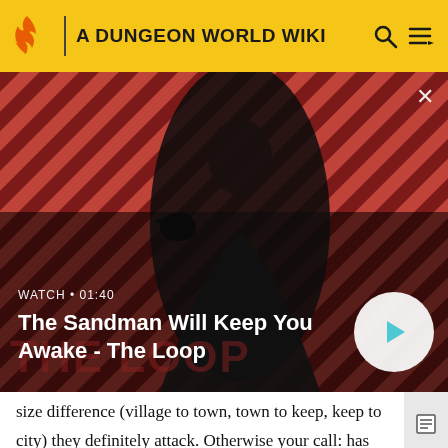A DUNGEON WORLD WIKI
[Figure (screenshot): Video thumbnail with a figure dressed in black with a crow on shoulder against a red diagonal striped background. Text overlay: WATCH · 01:40. Title: The Sandman Will Keep You Awake - The Loop. Play button in bottom right.]
size difference (village to town, town to keep, keep to city) they definitely attack. Otherwise your call: has anything happened recently to stoke their anger? The forces of the attacker embattle the defender, while they maintain the